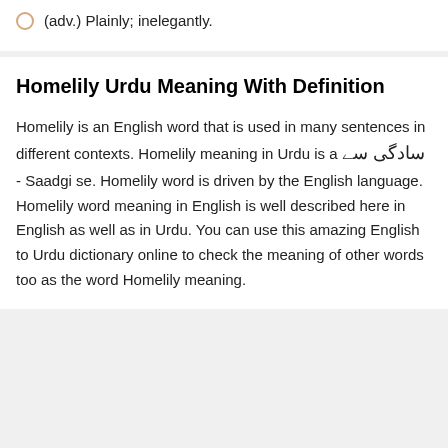(adv.) Plainly; inelegantly.
Homelily Urdu Meaning With Definition
Homelily is an English word that is used in many sentences in different contexts. Homelily meaning in Urdu is a سادگی سے - Saadgi se. Homelily word is driven by the English language. Homelily word meaning in English is well described here in English as well as in Urdu. You can use this amazing English to Urdu dictionary online to check the meaning of other words too as the word Homelily meaning.